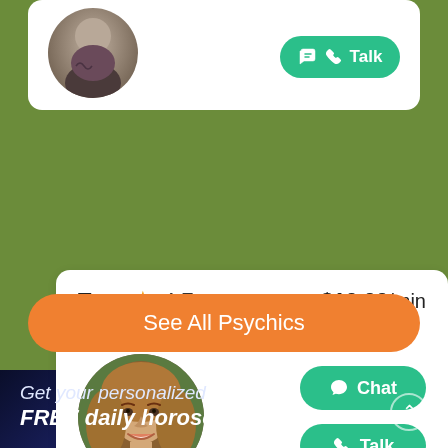[Figure (screenshot): Partial top card showing a circular profile photo of a tattooed person and a green Talk button]
Tara ★ 4.7   $10.00/min
49558 readings since 2015
[Figure (photo): Circular profile photo of Tara, a woman with medium-length blonde/brown hair, smiling outdoors]
Chat
Talk
See All Psychics
Get your personalized FREE daily horoscope